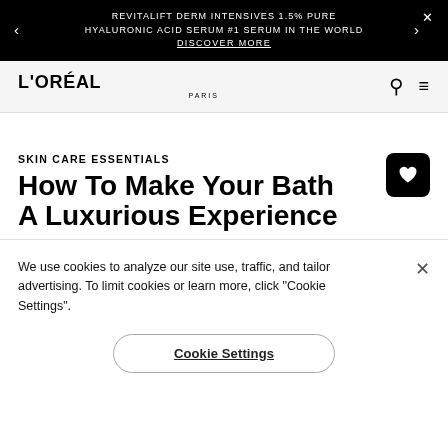REVITALIFT DERM INTENSIVES 1.5% PURE HYALURONIC ACID SERUM #1 SERUM IN THE WORLD DISCOVER MORE
[Figure (logo): L'ORÉAL PARIS logo]
SKIN CARE ESSENTIALS
How To Make Your Bath A Luxurious Experience
We use cookies to analyze our site use, traffic, and tailor advertising. To limit cookies or learn more, click "Cookie Settings".
Cookie Settings